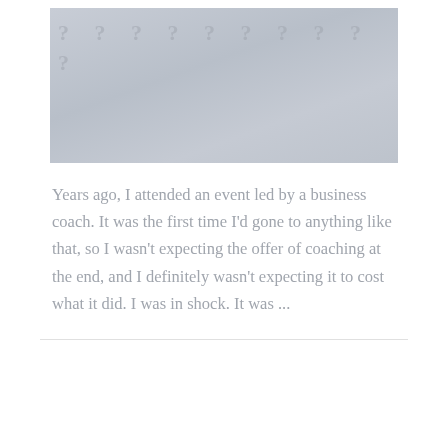[Figure (photo): A woman with a braided ponytail wearing a light blue shirt, holding up two decorative masks (one in each hand) against a background with question marks. The image has a grey-blue muted tone.]
Years ago, I attended an event led by a business coach. It was the first time I'd gone to anything like that, so I wasn't expecting the offer of coaching at the end, and I definitely wasn't expecting it to cost what it did. I was in shock. It was ...